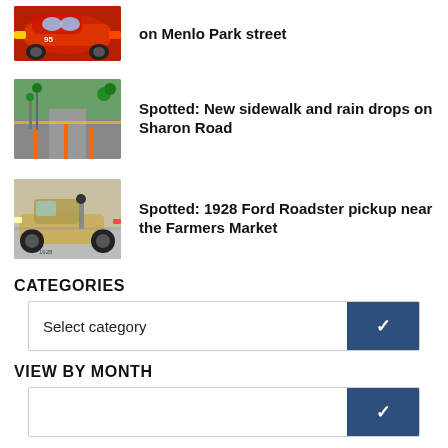[Figure (photo): Red animated Lightning McQueen car on a road]
on Menlo Park street
[Figure (photo): New sidewalk construction on Sharon Road with orange cones]
Spotted: New sidewalk and rain drops on Sharon Road
[Figure (photo): 1928 Ford Roadster pickup near the Farmers Market]
Spotted: 1928 Ford Roadster pickup near the Farmers Market
CATEGORIES
Select category
VIEW BY MONTH